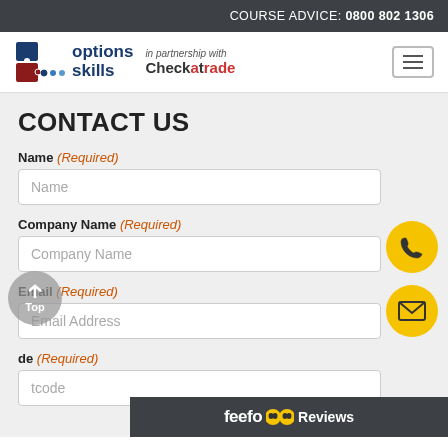COURSE ADVICE: 0800 802 1306
[Figure (logo): Options Skills logo in partnership with Checkatrade]
CONTACT US
Name (Required)
Name
Company Name (Required)
Company Name
Email (Required)
Email Address
de (Required)
tcode
[Figure (infographic): Feefo Reviews badge (dark background with feefo eyes logo and Reviews text)]